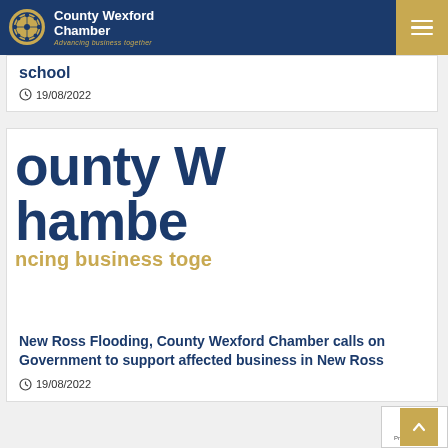County Wexford Chamber – Advancing business together
school
19/08/2022
[Figure (logo): County Wexford Chamber large cropped logo showing 'ounty W', 'hambe', 'ncing business toge' in navy and gold]
New Ross Flooding, County Wexford Chamber calls on Government to support affected business in New Ross
19/08/2022